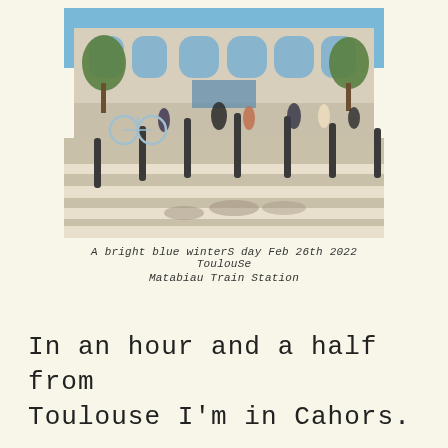[Figure (photo): Outdoor photo of Toulouse Matabiau Train Station on a bright winter day. A large neoclassical building facade with arched windows and trees. In the foreground, a pedestrian crosswalk with bollards, people walking, and a bicycle.]
A bright blue winters day Feb 26th 2022 ToulouSe Matabiau Train Station
In an hour and a half from Toulouse I'm in Cahors.